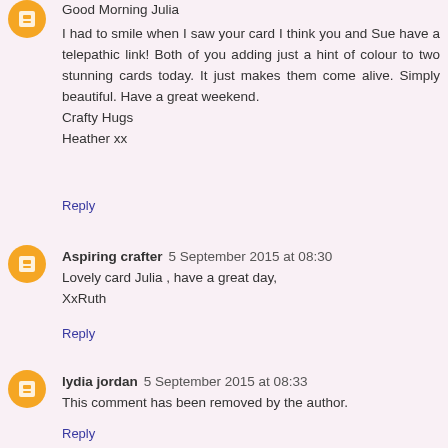Good Morning Julia

I had to smile when I saw your card I think you and Sue have a telepathic link! Both of you adding just a hint of colour to two stunning cards today. It just makes them come alive. Simply beautiful. Have a great weekend.
Crafty Hugs
Heather xx
Reply
Aspiring crafter  5 September 2015 at 08:30
Lovely card Julia , have a great day,
XxRuth
Reply
lydia jordan  5 September 2015 at 08:33
This comment has been removed by the author.
Reply